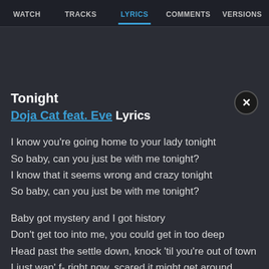WATCH  TRACKS  LYRICS  COMMENTS  VERSIONS
Tonight
Doja Cat feat. Eve Lyrics
I know you're going home to your lady tonight
So baby, can you just be with me tonight?
I know that it seems wrong and crazy tonight
So baby, can you just be with me tonight?

Baby got mystery and I got history
Don't get too into me, you could get in too deep
Head past the settle down, knock 'til you're out of town
I just wan' f- right now, scared it might get around
I like what I like, you like what you do
You see my eyes, boy, I just can't keep 'em off you